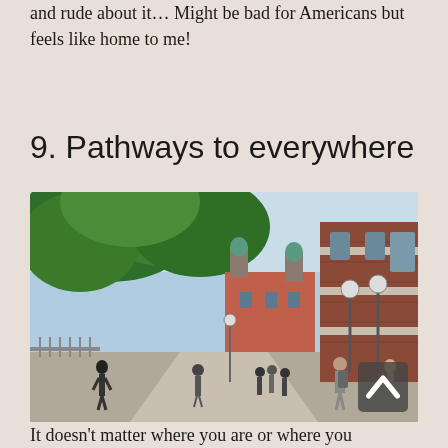and rude about it... Might be bad for Americans but feels like home to me!
9. Pathways to everywhere
[Figure (photo): Outdoor campus pathway with students walking, large green trees on the left, a brick university building on the right with stone accents, and a red-roofed historic building with green copper towers visible in the center background. Street lamps line the walkway.]
It doesn't matter where you are or where you